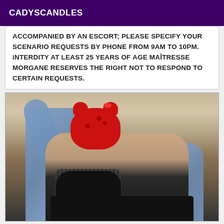CADYSCANDLES
ACCOMPANIED BY AN ESCORT; PLEASE SPECIFY YOUR SCENARIO REQUESTS BY PHONE FROM 9AM TO 10PM. iNTERDITY AT LEAST 25 YEARS OF AGE MAÎTRESSE MORGANE RESERVES THE RIGHT NOT TO RESPOND TO CERTAIN REQUESTS.
[Figure (photo): Person wearing black lingerie top and denim jacket, face covered with a red Hello Kitty emoji/sticker, photographed outdoors]